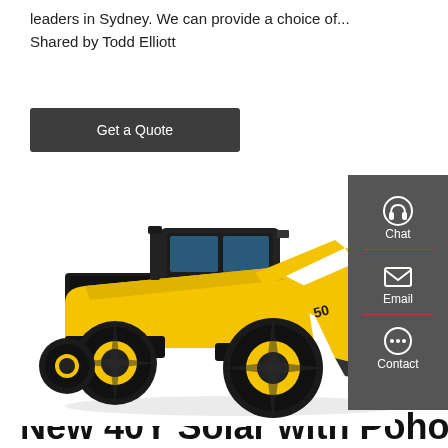leaders in Sydney. We can provide a choice of... Shared by Todd Elliott
Get a Quote
[Figure (photo): Yellow construction wheel loader / front-end loader machine on white background, with large black tires and yellow bucket at front]
Chat
Email
Contact
New 40Y Solar with Pohot...